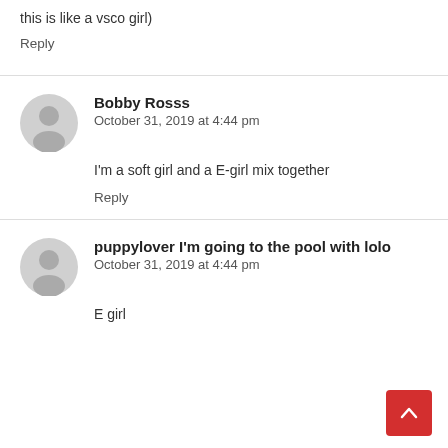this is like a vsco girl)
Reply
Bobby Rosss
October 31, 2019 at 4:44 pm
I'm a soft girl and a E-girl mix together
Reply
puppylover I'm going to the pool with lolo
October 31, 2019 at 4:44 pm
E girl